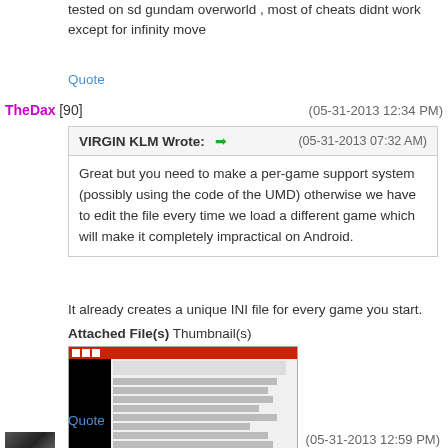tested on sd gundam overworld , most of cheats didnt work except for infinity move
Quote
TheDax [90]
(05-31-2013 12:34 PM)
VIRGIN KLM Wrote: → (05-31-2013 07:32 AM)
Great but you need to make a per-game support system (possibly using the code of the UMD) otherwise we have to edit the file every time we load a different game which will make it completely impractical on Android.
It already creates a unique INI file for every game you start.
Attached File(s) Thumbnail(s)
[Figure (screenshot): Screenshot of a file manager window showing a list of INI files with a black panel on the left side]
Quote
(05-31-2013 12:59 PM)